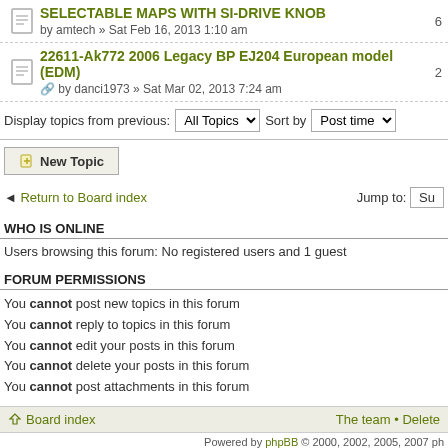SELECTABLE MAPS WITH SI-DRIVE KNOB by amtech » Sat Feb 16, 2013 1:10 am
22611-Ak772 2006 Legacy BP EJ204 European model (EDM) by danci1973 » Sat Mar 02, 2013 7:24 am
Display topics from previous: All Topics Sort by Post time
New Topic
Return to Board index   Jump to: Su
WHO IS ONLINE
Users browsing this forum: No registered users and 1 guest
FORUM PERMISSIONS
You cannot post new topics in this forum
You cannot reply to topics in this forum
You cannot edit your posts in this forum
You cannot delete your posts in this forum
You cannot post attachments in this forum
Board index   The team • Delete
Powered by phpBB © 2000, 2002, 2005, 2007 ph   Time : 0.117s | 14 Queries | GZIP : Of